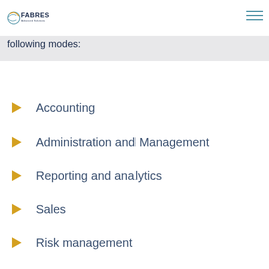FABRES Advanced Solutions
following modes:
Accounting
Administration and Management
Reporting and analytics
Sales
Risk management
Shipping
Vendor